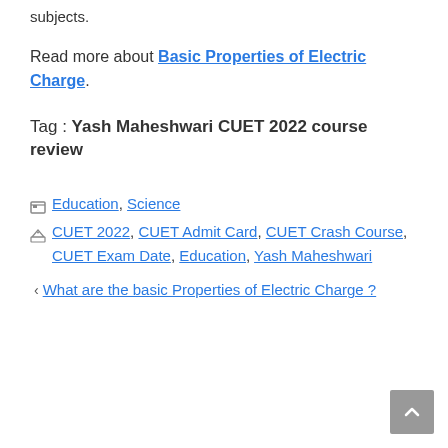subjects.
Read more about Basic Properties of Electric Charge.
Tag : Yash Maheshwari CUET 2022 course review
Categories: Education, Science
Tags: CUET 2022, CUET Admit Card, CUET Crash Course, CUET Exam Date, Education, Yash Maheshwari
< What are the basic Properties of Electric Charge ?